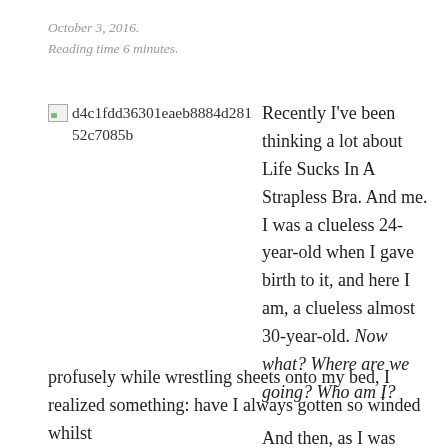October 3, 2016.
Reading time 6 minutes.
[Figure (other): Broken image placeholder showing hash id: d4c1fdd36301eaeb8884d28152c7085b]
Recently I've been thinking a lot about Life Sucks In A Strapless Bra. And me. I was a clueless 24-year-old when I gave birth to it, and here I am, a clueless almost 30-year-old. Now what? Where are we going? Who am I?

And then, as I was huffing and puffing and sweating profusely while wrestling sheets onto my bed, I realized something: have I always gotten so winded whilst